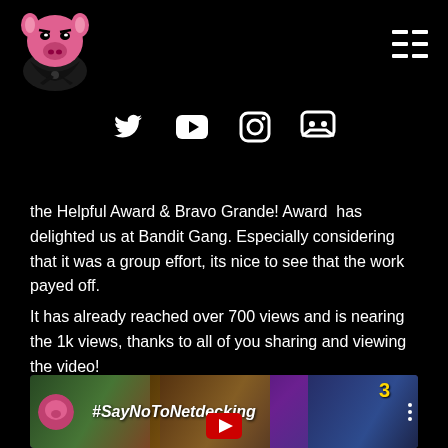[Figure (logo): Pink pig/boar mascot wearing a black bandana, Bandit Gang logo, top left]
[Figure (infographic): Hamburger menu icon, top right]
[Figure (infographic): Social media icons row: Twitter, YouTube, Instagram, Discord]
the Helpful Award & Bravo Grande! Award has delighted us at Bandit Gang. Especially considering that it was a group effort, its nice to see that the work payed off.
It has already reached over 700 views and is nearing the 1k views, thanks to all of you sharing and viewing the video!
[Figure (screenshot): YouTube video thumbnail showing #SayNoToNetdecking with Bandit Gang logo avatar and fantasy card game artwork, red YouTube play button]